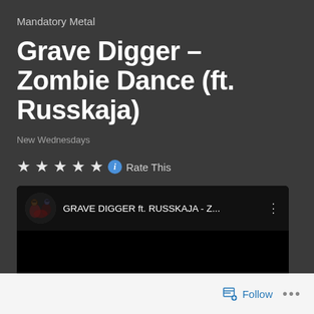Mandatory Metal
Grave Digger – Zombie Dance (ft. Russkaja)
New Wednesdays
★★★★★ ⓘ Rate This
[Figure (screenshot): YouTube video embed showing GRAVE DIGGER ft. RUSSKAJA - Z... with circular thumbnail of band artwork on black background and red play button]
Follow  •••